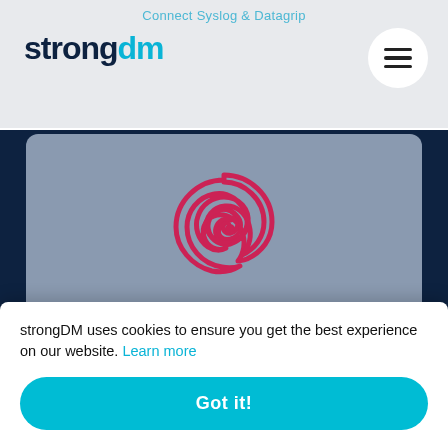Connect Syslog & Datagrip
[Figure (logo): strongDM logo with 'strong' in dark navy and 'dm' in cyan/teal]
[Figure (illustration): Debian Linux swirl logo in pink/crimson on grey background card]
Connect Syslog & Debian
[Figure (illustration): Partial card with blue circle icon visible at top, cut off by cookie banner]
strongDM uses cookies to ensure you get the best experience on our website. Learn more
Got it!